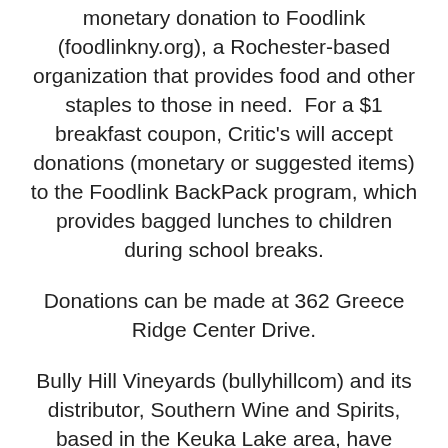monetary donation to Foodlink (foodlinkny.org), a Rochester-based organization that provides food and other staples to those in need.  For a $1 breakfast coupon, Critic's will accept donations (monetary or suggested items) to the Foodlink BackPack program, which provides bagged lunches to children during school breaks.
Donations can be made at 362 Greece Ridge Center Drive.
Bully Hill Vineyards (bullyhillcom) and its distributor, Southern Wine and Spirits, based in the Keuka Lake area, have teamed up and are donating $1 to five different food banks for every case of Bully Hill wine sold in upstate New York. The offer began July 1st and will continue until the end of the year. Foodlink and Food Bank of the Southern Tier are two